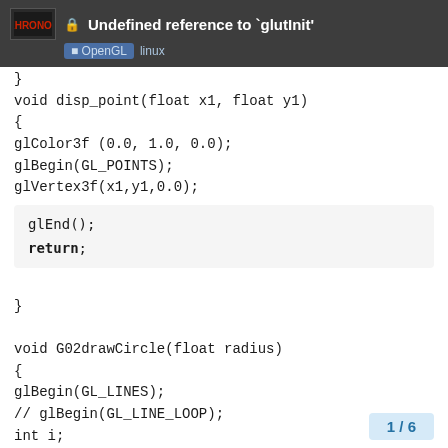Undefined reference to `glutInit' — OpenGL linux
}
void disp_point(float x1, float y1)
{
glColor3f (0.0, 1.0, 0.0);
glBegin(GL_POINTS);
glVertex3f(x1,y1,0.0);
glEnd();
return;
}

void G02drawCircle(float radius)
{
glBegin(GL_LINES);
// glBegin(GL_LINE_LOOP);
int i;
for (i=0; i < 360; i++)
{